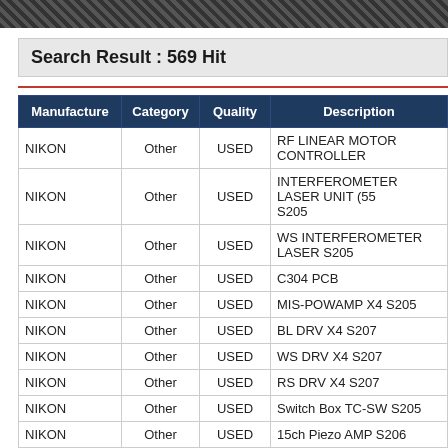Search Result : 569 Hit
| Manufacture | Category | Quality | Description |
| --- | --- | --- | --- |
| NIKON | Other | USED | RF LINEAR MOTOR CONTROLLER |
| NIKON | Other | USED | INTERFEROMETER LASER UNIT (55 S205 |
| NIKON | Other | USED | WS INTERFEROMETER LASER S205 |
| NIKON | Other | USED | C304 PCB |
| NIKON | Other | USED | MIS-POWAMP X4 S205 |
| NIKON | Other | USED | BL DRV X4 S207 |
| NIKON | Other | USED | WS DRV X4 S207 |
| NIKON | Other | USED | RS DRV X4 S207 |
| NIKON | Other | USED | Switch Box TC-SW S205 |
| NIKON | Other | USED | 15ch Piezo AMP S206 |
| NIKON | Other | USED | NK C304 BOARD S205&S206&S207 |
| NIKON | Other | USED | SWITCH BOX (TC SWITCH BOX×S20 |
| NIKON | Other | USED | SWITCH BOX (WYR SWITCH BOX× |